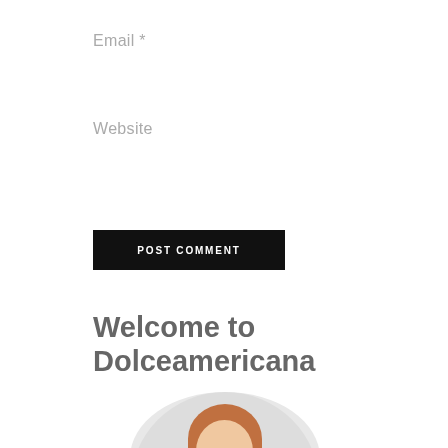Email *
Website
POST COMMENT
Welcome to Dolceamericana
[Figure (photo): Circular portrait photo of a woman with auburn/red hair, smiling, partially cropped at bottom of page]